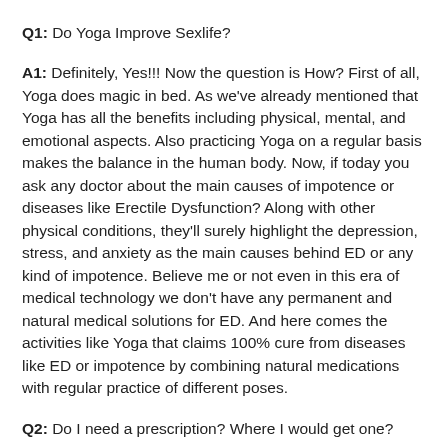Q1: Do Yoga Improve Sexlife?
A1: Definitely, Yes!!! Now the question is How? First of all, Yoga does magic in bed. As we've already mentioned that Yoga has all the benefits including physical, mental, and emotional aspects. Also practicing Yoga on a regular basis makes the balance in the human body. Now, if today you ask any doctor about the main causes of impotence or diseases like Erectile Dysfunction? Along with other physical conditions, they'll surely highlight the depression, stress, and anxiety as the main causes behind ED or any kind of impotence. Believe me or not even in this era of medical technology we don't have any permanent and natural medical solutions for ED. And here comes the activities like Yoga that claims 100% cure from diseases like ED or impotence by combining natural medications with regular practice of different poses.
Q2: Do I need a prescription? Where I would get one?